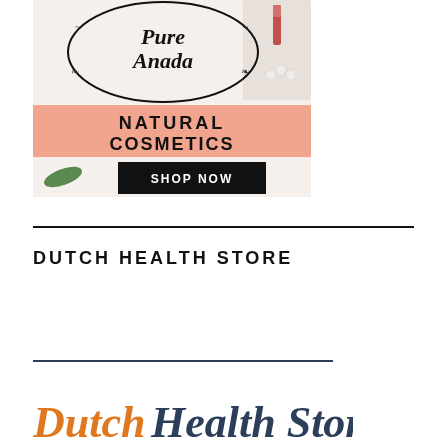[Figure (illustration): Pure Anada Natural Cosmetics advertisement banner with logo at top, peach/salmon colored band with 'NATURAL COSMETICS' text, and black 'SHOP NOW' button, with cosmetic products visible in background.]
DUTCH HEALTH STORE
[Figure (logo): Dutch Health Store logo partially visible at bottom — 'Dutch' in orange italic serif font and 'Health Store' in dark navy italic serif font.]